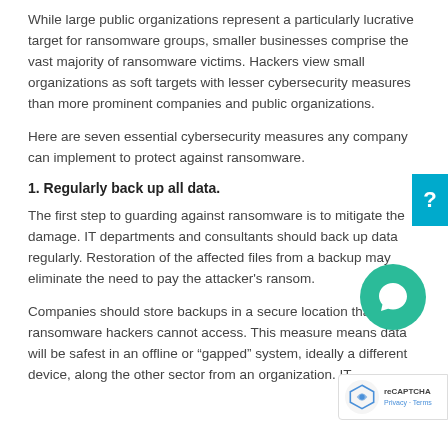While large public organizations represent a particularly lucrative target for ransomware groups, smaller businesses comprise the vast majority of ransomware victims. Hackers view small organizations as soft targets with lesser cybersecurity measures than more prominent companies and public organizations.
Here are seven essential cybersecurity measures any company can implement to protect against ransomware.
1. Regularly back up all data.
The first step to guarding against ransomware is to mitigate the damage. IT departments and consultants should back up data regularly. Restoration of the affected files from a backup may eliminate the need to pay the attacker’s ransom.
Companies should store backups in a secure location that ransomware hackers cannot access. This measure means data will be safest in an offline or “gapped” system, ideally a different device, along the other sector from an organization. IT